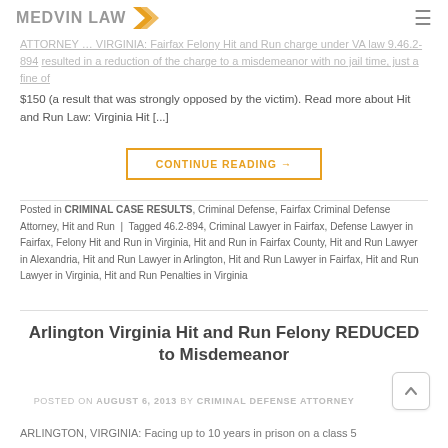MEDVIN LAW
ATTORNEY … VIRGINIA: Fairfax Felony Hit and Run charge under VA law 9.46.2-894 resulted in a reduction of the charge to a misdemeanor with no jail time, just a fine of $150 (a result that was strongly opposed by the victim). Read more about Hit and Run Law: Virginia Hit [...]
CONTINUE READING →
Posted in CRIMINAL CASE RESULTS, Criminal Defense, Fairfax Criminal Defense Attorney, Hit and Run | Tagged 46.2-894, Criminal Lawyer in Fairfax, Defense Lawyer in Fairfax, Felony Hit and Run in Virginia, Hit and Run in Fairfax County, Hit and Run Lawyer in Alexandria, Hit and Run Lawyer in Arlington, Hit and Run Lawyer in Fairfax, Hit and Run Lawyer in Virginia, Hit and Run Penalties in Virginia
Arlington Virginia Hit and Run Felony REDUCED to Misdemeanor
POSTED ON AUGUST 6, 2013 BY CRIMINAL DEFENSE ATTORNEY
ARLINGTON, VIRGINIA: Facing up to 10 years in prison on a class 5